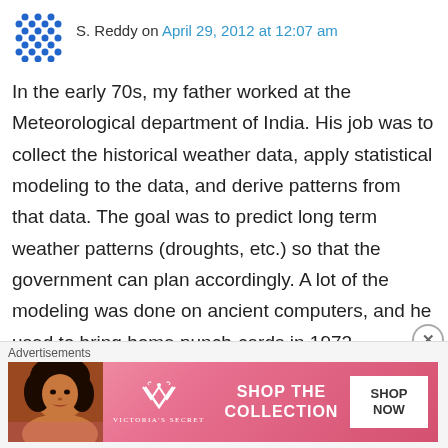S. Reddy on April 29, 2012 at 12:07 am
In the early 70s, my father worked at the Meteorological department of India. His job was to collect the historical weather data, apply statistical modeling to the data, and derive patterns from that data. The goal was to predict long term weather patterns (droughts, etc.) so that the government can plan accordingly. A lot of the modeling was done on ancient computers, and he used to bring home punch-cards in 1972.
He then worked in various other countries doing similar analysis on long term weather data. To
Advertisements
[Figure (photo): Victoria's Secret advertisement banner with a woman's photo on the left, Victoria's Secret logo in the center-left, 'SHOP THE COLLECTION' text in the center, and 'SHOP NOW' button on the right.]